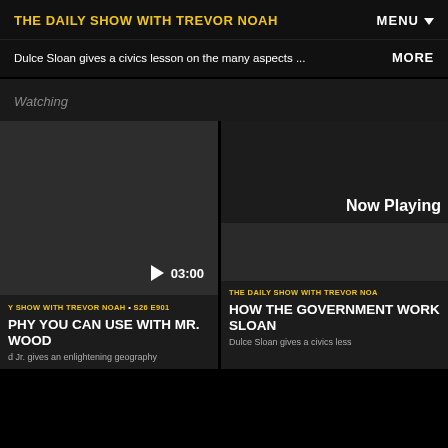THE DAILY SHOW WITH TREVOR NOAH
MENU
Dulce Sloan gives a civics lesson on the many aspects ... MORE
Watching
[Figure (screenshot): Video thumbnail for geography episode, dark background with play button and 03:00 timestamp]
Y SHOW WITH TREVOR NOAH • S26 E901
PHY YOU CAN USE WITH MR. WOOD
d Jr. gives an enlightening geography
Now Playing
THE DAILY SHOW WITH TREVOR NOA
HOW THE GOVERNMENT WORK SLOAN
Dulce Sloan gives a civics less